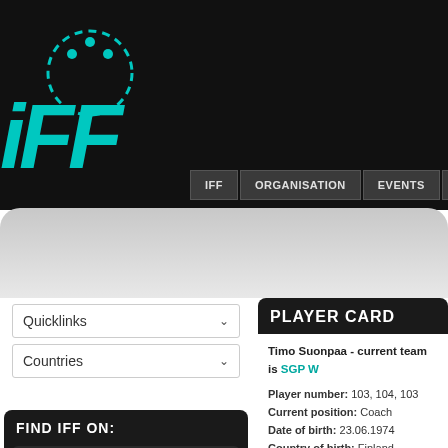[Figure (screenshot): IFF (International Floorball Federation) website screenshot showing logo, navigation bar, quicklinks, countries dropdowns, Find IFF On social media section, and a Player Card for Timo Suonpaa]
IFF | ORGANISATION | EVENTS | DEVELOPMENT
PLAYER CARD
Timo Suonpaa - current team is SGP W
Player number: 103, 104, 103
Current position: Coach
Date of birth: 23.06.1974
Country of birth: Finland
Current Club: SB-Pro, Nurmijarvi
FIND IFF ON:
IFF Events Mobile App
Flickr
Instagram